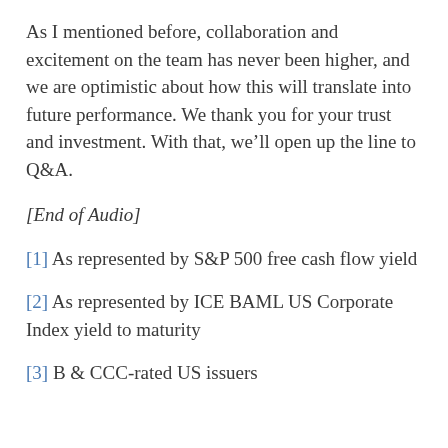As I mentioned before, collaboration and excitement on the team has never been higher, and we are optimistic about how this will translate into future performance. We thank you for your trust and investment. With that, we’ll open up the line to Q&A.
[End of Audio]
[1] As represented by S&P 500 free cash flow yield
[2] As represented by ICE BAML US Corporate Index yield to maturity
[3] B & CCC-rated US issuers